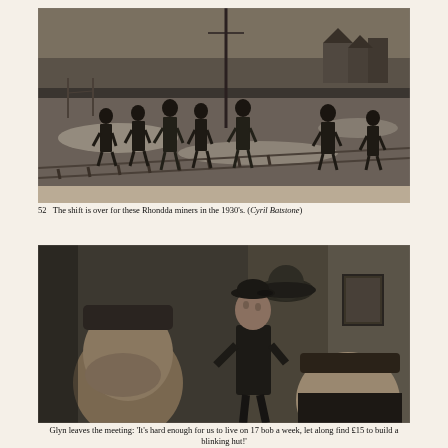[Figure (photo): Black and white photograph of Rhondda miners walking in a line after their shift, set in a wintry landscape in the 1930s. Several figures in dark coats walk across a snowy or muddy terrain with railway tracks and buildings in the background.]
52  The shift is over for these Rhondda miners in the 1930's. (Cyril Batstone)
[Figure (photo): Black and white film still or photograph showing Glyn leaving a meeting. A man wearing a flat cap stands in a doorway, with two other figures in the foreground whose faces are turned away or partially obscured.]
Glyn leaves the meeting: 'It's hard enough for us to live on 17 bob a week, let along find £15 to build a blinking hut!'